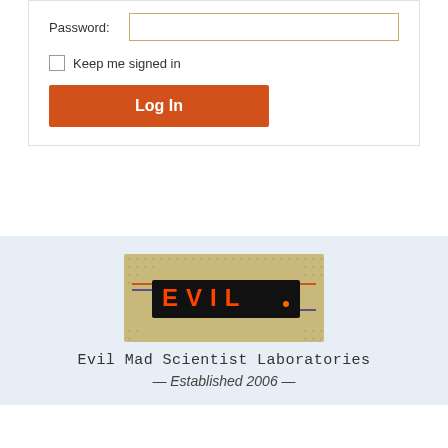Password:
Keep me signed in
Log In
[Figure (logo): Evil Mad Scientist Laboratories logo: a breadboard with LED display spelling EVIL in orange/red LEDs on a black background]
Evil Mad Scientist Laboratories
— Established 2006 —